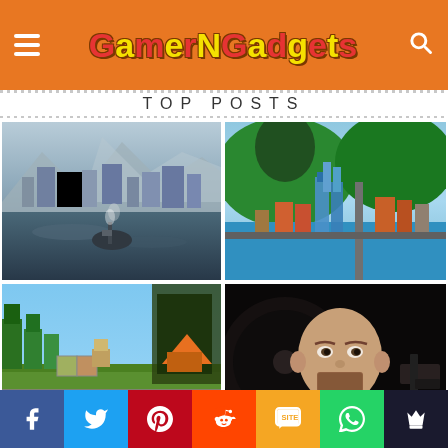GamerGadgets
TOP POSTS
[Figure (screenshot): City builder game screenshot showing harbor with ships and buildings, snowy mountains in background]
[Figure (screenshot): Tropical city builder game screenshot with colorful buildings, green hills, and roads from aerial view]
[Figure (screenshot): Minecraft-style game screenshot showing blocky green landscape with characters]
[Figure (screenshot): Action game screenshot showing a bald bearded male character with a weapon]
Social share bar: Facebook, Twitter, Pinterest, Reddit, SMS, WhatsApp, Crown